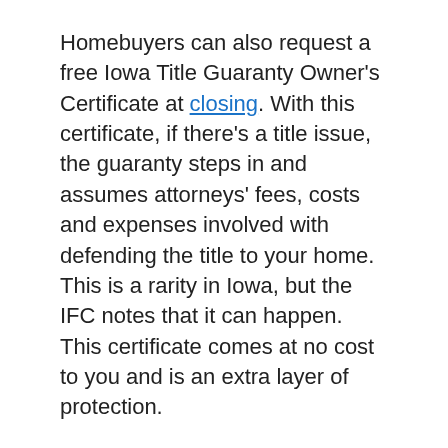Homebuyers can also request a free Iowa Title Guaranty Owner's Certificate at closing. With this certificate, if there's a title issue, the guaranty steps in and assumes attorneys' fees, costs and expenses involved with defending the title to your home. This is a rarity in Iowa, but the IFC notes that it can happen. This certificate comes at no cost to you and is an extra layer of protection.
To qualify for the First Home Program, homebuyers must adhere to country household income and home purchase price limits.
You must either be a first-time homebuyer who hasn't owned a home in at least three years, a military member who has not taken out an IFC mortgage, or a homebuyer purchasing a home in